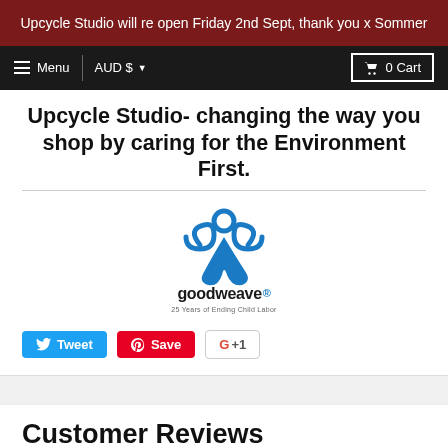Upcycle Studio will re open Friday 2nd Sept, thank you x Sommer
[Figure (screenshot): Website navigation bar with hamburger menu icon, Menu text, AUD $ currency selector with dropdown arrow, and 0 Cart button with shopping cart icon on dark background]
Upcycle Studio- changing the way you shop by caring for the Environment First.
[Figure (logo): GoodWeave logo - blue stylized figure design with text 'goodweave' and tagline '25 Years of Ending Child Labor']
[Figure (screenshot): Social sharing buttons: blue Tweet button with Twitter bird icon, red Save button with Pinterest icon, and G+1 Google Plus button]
Customer Reviews